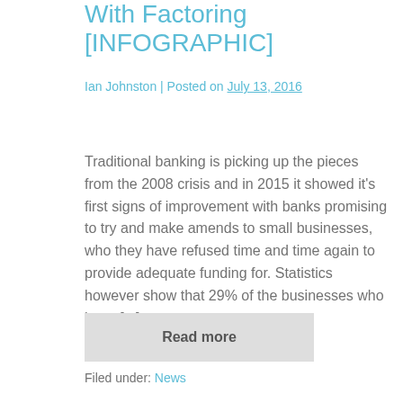With Factoring [INFOGRAPHIC]
Ian Johnston | Posted on July 13, 2016
Traditional banking is picking up the pieces from the 2008 crisis and in 2015 it showed it's first signs of improvement with banks promising to try and make amends to small businesses, who they have refused time and time again to provide adequate funding for. Statistics however show that 29% of the businesses who have [...]
Read more
Filed under: News